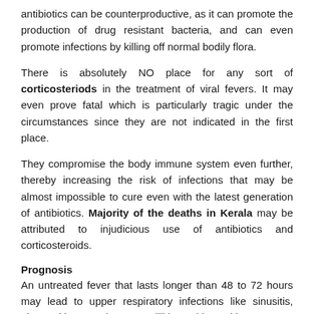antibiotics can be counterproductive, as it can promote the production of drug resistant bacteria, and can even promote infections by killing off normal bodily flora.
There is absolutely NO place for any sort of corticosteriods in the treatment of viral fevers. It may even prove fatal which is particularly tragic under the circumstances since they are not indicated in the first place.
They compromise the body immune system even further, thereby increasing the risk of infections that may be almost impossible to cure even with the latest generation of antibiotics. Majority of the deaths in Kerala may be attributed to injudicious use of antibiotics and corticosteroids.
Prognosis
An untreated fever that lasts longer than 48 to 72 hours may lead to upper respiratory infections like sinusitis, pharyngitis, Sore throat, tonsillitis, and laryngitis.
Other complications are pneumonia, an infection